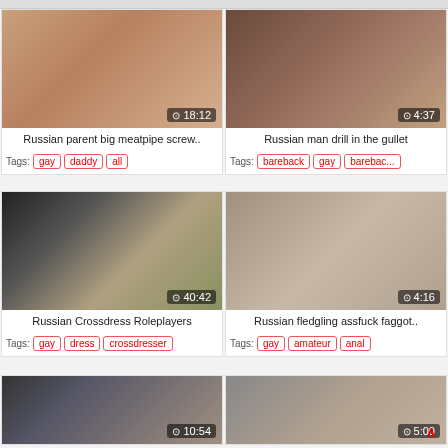[Figure (screenshot): Video thumbnail grid showing adult video listings with titles, durations, and tags]
Russian parent big meatpipe screw..
Tags: gay  daddy  all
Russian man drill in the gullet
Tags: bareback  gay  barebac...
Russian Crossdress Roleplayers
Tags: gay  dress  crossdresser
Russian fledgling assfuck faggot..
Tags: gay  amateur  anal